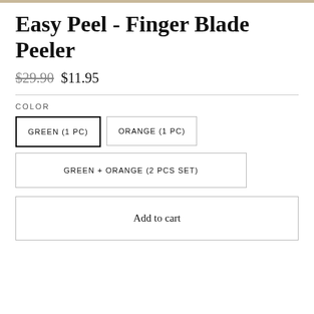Easy Peel - Finger Blade Peeler
$29.90  $11.95
COLOR
GREEN (1 PC)
ORANGE (1 PC)
GREEN + ORANGE (2 PCS SET)
Add to cart